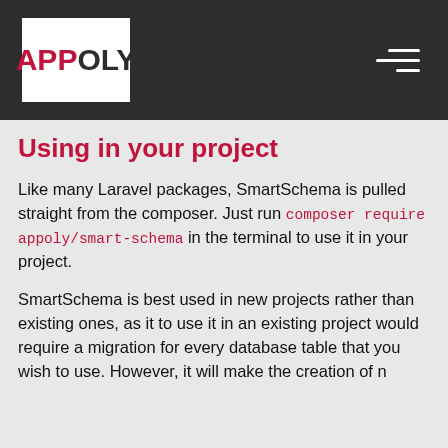APPOLY
Using in your project
Like many Laravel packages, SmartSchema is pulled straight from the composer. Just run composer require appoly/smart-schema in the terminal to use it in your project.
SmartSchema is best used in new projects rather than existing ones, as it to use it in an existing project would require a migration for every database table that you wish to use. However, it will make the creation of n...